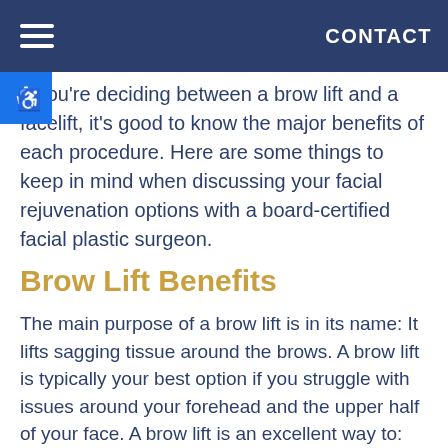CONTACT
If you're deciding between a brow lift and a facelift, it's good to know the major benefits of each procedure. Here are some things to keep in mind when discussing your facial rejuvenation options with a board-certified facial plastic surgeon.
Brow Lift Benefits
The main purpose of a brow lift is in its name: It lifts sagging tissue around the brows. A brow lift is typically your best option if you struggle with issues around your forehead and the upper half of your face. A brow lift is an excellent way to: